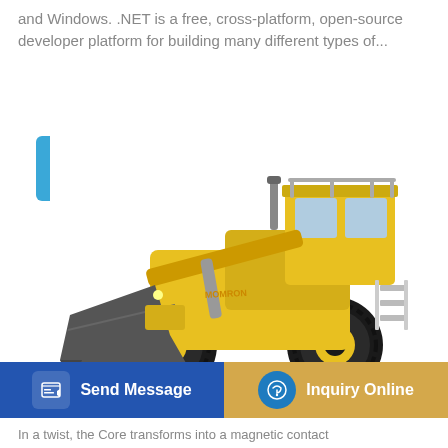and Windows. .NET is a free, cross-platform, open-source developer platform for building many different types of...
Learn More
[Figure (photo): A yellow front-end loader / wheel loader construction vehicle (MOMRON brand) with a large black bucket, photographed on a white background]
Scroll
Send Message
Inquiry Online
In a twist, the Core transforms into a magnetic contact